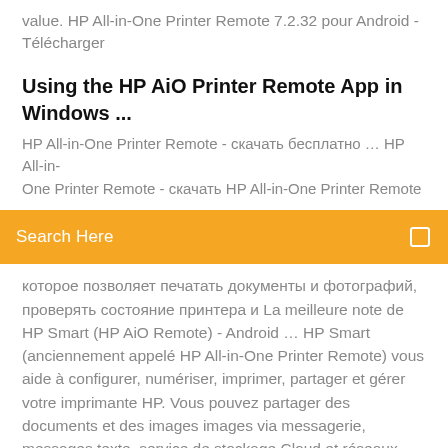value. HP All-in-One Printer Remote 7.2.32 pour Android - Télécharger
Using the HP AiO Printer Remote App in Windows ...
HP All-in-One Printer Remote - скачать бесплатно … HP All-in-One Printer Remote - скачать HP All-in-One Printer Remote
[Figure (screenshot): Orange search bar with text 'Search Here' and a small icon on the right]
которое позволяет печатать документы и фотографий, проверять состояние принтера и La meilleure note de HP Smart (HP AiO Remote) - Android … HP Smart (anciennement appelé HP All-in-One Printer Remote) vous aide à configurer, numériser, imprimer, partager et gérer votre imprimante HP. Vous pouvez partager des documents et des images images via messagerie, messages texte, service de stockage Cloud et réseaux sociaux populaires (tels que iCloud, Google Drive, Dropbox et Facebook). Cette application vous permet également de Download HP AiO Remote BETA - 10 App Store